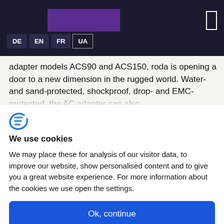[Figure (logo): Purple rectangle logo block in dark navigation bar header]
DE EN FR UA
adapter models ACS90 and ACS150, roda is opening a door to a new dimension in the rugged world. Water- and sand-protected, shockproof, drop- and EMC-protected, the AC adapter can also
[Figure (logo): Cookiebot logo icon - stylized letter C with F shape in blue]
We use cookies
We may place these for analysis of our visitor data, to improve our website, show personalised content and to give you a great website experience. For more information about the cookies we use open the settings.
Ok, continue
Deny
No, adjust